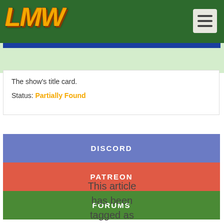LMW
The show's title card.
Status: Partially Found
DISCORD
PATREON
FORUMS
This article has been tagged as